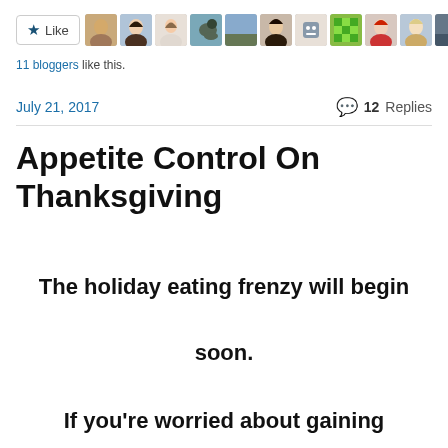[Figure (screenshot): Like button with star icon and row of 10 blogger avatar thumbnails]
11 bloggers like this.
July 21, 2017
💬 12 Replies
Appetite Control On Thanksgiving
The holiday eating frenzy will begin soon.
If you're worried about gaining